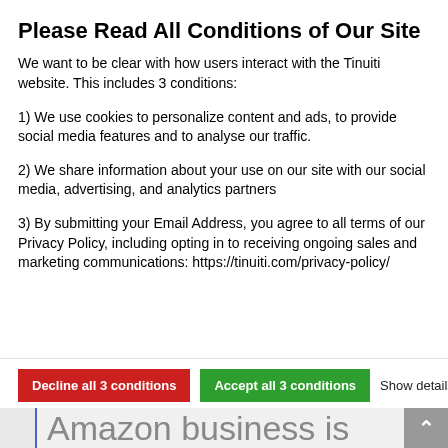Please Read All Conditions of Our Site
We want to be clear with how users interact with the Tinuiti website. This includes 3 conditions:
1) We use cookies to personalize content and ads, to provide social media features and to analyse our traffic.
2) We share information about your use on our site with our social media, advertising, and analytics partners
3) By submitting your Email Address, you agree to all terms of our Privacy Policy, including opting in to receiving ongoing sales and marketing communications: https://tinuiti.com/privacy-policy/
Decline all 3 conditions | Accept all 3 conditions | Show details
Amazon business is fully prepared to increase product visibility and convert holiday